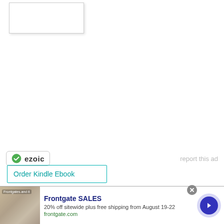[Figure (other): Empty white box with light border and shadow, top-left area]
[Figure (logo): Ezoic logo with green circle-check icon and text 'ezoic', alongside 'report this ad' link]
report this ad
Order Kindle Ebook
[Figure (other): Advertisement banner: Frontgate SALES - 20% off sitewide plus free shipping from August 19-22, frontgate.com, with outdoor furniture image and right arrow button]